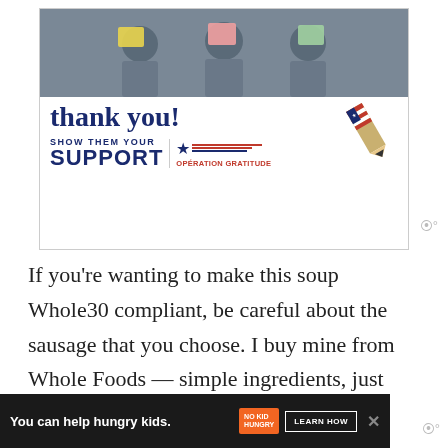[Figure (illustration): Operation Gratitude advertisement showing three people in gray scrubs holding cards and a patriotic pencil graphic with 'thank you!' in script, 'SHOW THEM YOUR SUPPORT' in bold, and Operation Gratitude logo]
If you're wanting to make this soup Whole30 compliant, be careful about the sausage that you choose. I buy mine from Whole Foods — simple ingredients, just sausage, spices and
[Figure (illustration): Advertisement banner: 'You can help hungry kids.' with No Kid Hungry logo and LEARN HOW button on dark background]